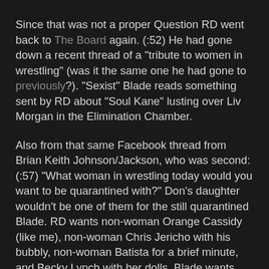Since that was not a proper Question RD went back to The Board again. (:52) He had gone down a recent thread of a "tribute to women in wrestling" (was it the same one he had gone to previously?). "Sexist" Blade reads something sent by RD about "Soul Kane" lusting over Liv Morgan in the Elimination Chamber.
Also from that same Facebook thread from Brian Keith Johnson/Jackson, who was second: (:57) "What woman in wrestling today would you want to be quarantined with?" Don's daughter wouldn't be one of them for the still quarantined Blade. RD wants non-woman Orange Cassidy (like me), non-woman Chris Jericho with his bubbly, non-woman Batista for a brief minute, and Becky Lynch with her dolls. Blade wants Mickie James to sing country songs about Christmas sweaters with, non-woman Black Scorpion to practice magic tricks with, and non-sane person Tam.
"Celebrations" for Triple H's 25 years will "begin" on Smackdown in two weeks, in news that definitely needs no further comment. The Co-Fruitcakes do so anyway, for